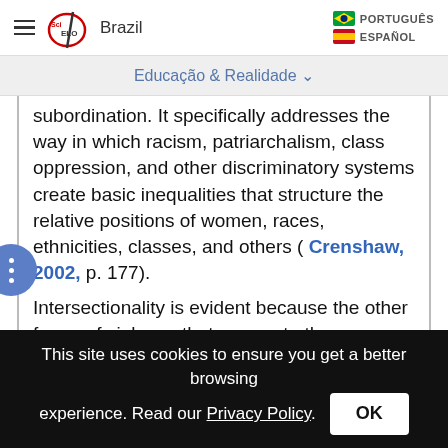SciELO Brazil | PORTUGUÊS | ESPAÑOL
Educação & Realidade
subordination. It specifically addresses the way in which racism, patriarchalism, class oppression, and other discriminatory systems create basic inequalities that structure the relative positions of women, races, ethnicities, classes, and others ( Crenshaw, 2002, p. 177).
Intersectionality is evident because the other forms of violence that permeate the homeless population constantly end up hiding gender violence.
This site uses cookies to ensure you get a better browsing experience. Read our Privacy Policy. OK